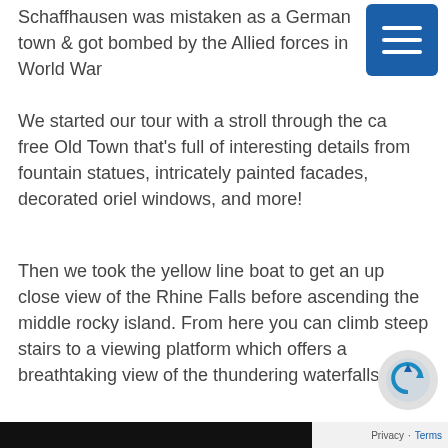Schaffhausen was mistaken as a German town & got bombed by the Allied forces in World War
[Figure (other): Blue hamburger menu button with three white horizontal lines]
We started our tour with a stroll through the car free Old Town that's full of interesting details from fountain statues, intricately painted facades, decorated oriel windows, and more!
Then we took the yellow line boat to get an up close view of the Rhine Falls before ascending the middle rocky island. From here you can climb steep stairs to a viewing platform which offers a breathtaking view of the thundering waterfalls.
We also took a look inside Munot Castle which is on a hill overlooking the Old Town and has the best vantage point for the most wonderful view of the city and surrounding landscape. The last stop for the day was at CM Brauhaus, a local restaurant where we popped in to try their in-house brewed beer and specialty lunch menu!
[Figure (other): Scroll-to-top circular button with blue/green swirl arrow icon]
Privacy · Terms